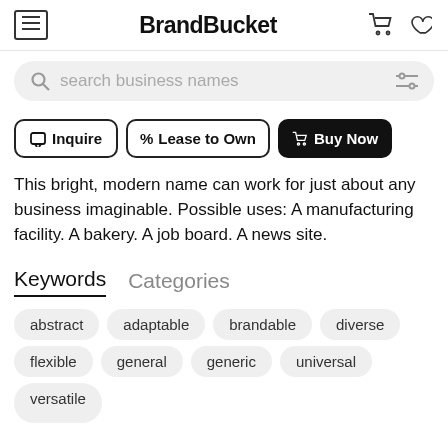BrandBucket
[Figure (screenshot): Search bar with magnifying glass icon and filter icon on right, placeholder text 'search business names', rounded rectangle with light grey background]
[Figure (screenshot): Three action buttons: Inquire (outline), Lease to Own (outline), Buy Now (filled black)]
This bright, modern name can work for just about any business imaginable. Possible uses: A manufacturing facility. A bakery. A job board. A news site.
Keywords   Categories
abstract
adaptable
brandable
diverse
flexible
general
generic
universal
versatile